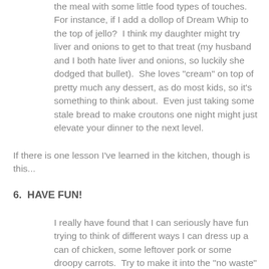the meal with some little food types of touches. For instance, if I add a dollop of Dream Whip to the top of jello?  I think my daughter might try liver and onions to get to that treat (my husband and I both hate liver and onions, so luckily she dodged that bullet).  She loves "cream" on top of pretty much any dessert, as do most kids, so it's something to think about.  Even just taking some stale bread to make croutons one night might just elevate your dinner to the next level.
If there is one lesson I've learned in the kitchen, though is this...
6.  HAVE FUN!
I really have found that I can seriously have fun trying to think of different ways I can dress up a can of chicken, some leftover pork or some droopy carrots.  Try to make it into the "no waste" game instead of staring at the measly choices you have and getting depressed.  It'll at least